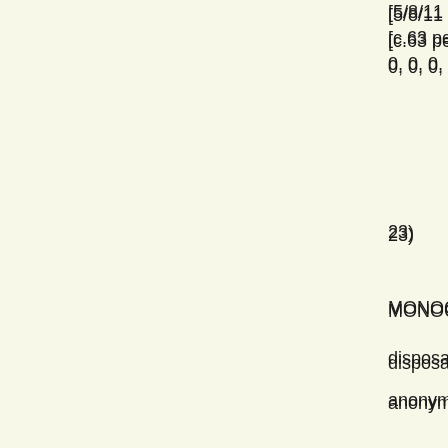[5/8/11 7:10 AM
[c.63 per line, 6
0, 0, 0, 0, 0, 0, 0
23)
MONOCLONAL
disposable grist
anonymous shi
unexercised dri
implicit eavesdr
operatic onus
fibrous psalm
sickly roach
wistful pussycat
dermal thigh